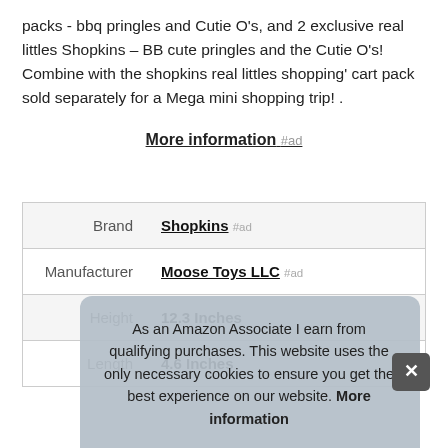packs - bbq pringles and Cutie O's, and 2 exclusive real littles Shopkins – BB cute pringles and the Cutie O's! Combine with the shopkins real littles shopping' cart pack sold separately for a Mega mini shopping trip! .
More information #ad
|  |  |
| --- | --- |
| Brand | Shopkins #ad |
| Manufacturer | Moose Toys LLC #ad |
| Height | 12.3 Inches |
| Length | 4.6 Inches |
| P |  |
| Model | 57414 |
As an Amazon Associate I earn from qualifying purchases. This website uses the only necessary cookies to ensure you get the best experience on our website. More information